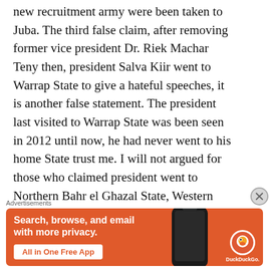new recruitment army were been taken to Juba. The third false claim, after removing former vice president Dr. Riek Machar Teny then, president Salva Kiir went to Warrap State to give a hateful speeches, it is another false statement. The president last visited to Warrap State was been seen in 2012 until now, he had never went to his home State trust me. I will not argued for those who claimed president went to Northern Bahr el Ghazal State, Western Bahr el Ghazal State and the Lake State
Advertisements
[Figure (infographic): DuckDuckGo advertisement banner with orange background showing 'Search, browse, and email with more privacy. All in One Free App' with a phone image and DuckDuckGo logo]